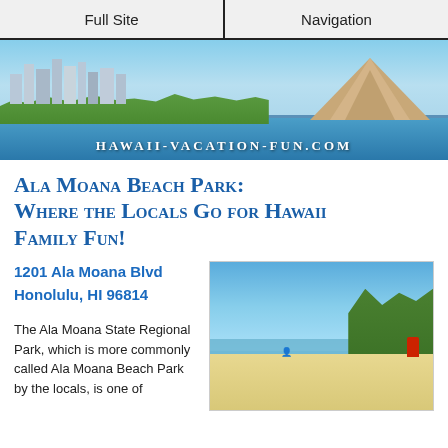Full Site | Navigation
[Figure (photo): Panoramic banner photo of Waikiki beach with city skyline, palm trees, Diamond Head mountain, and ocean. Text overlay: HAWAII-VACATION-FUN.COM]
Ala Moana Beach Park: Where the Locals Go for Hawaii Family Fun!
1201 Ala Moana Blvd
Honolulu, HI 96814
[Figure (photo): Beach photo showing sandy shore, blue ocean, palm trees, and a lifeguard tower under a bright blue sky]
The Ala Moana State Regional Park, which is more commonly called Ala Moana Beach Park by the locals, is one of